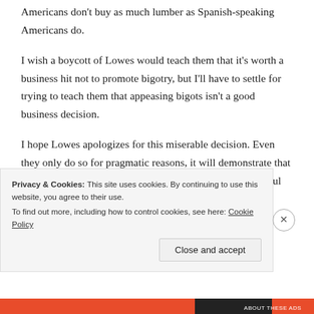Americans don't buy as much lumber as Spanish-speaking Americans do.
I wish a boycott of Lowes would teach them that it's worth a business hit not to promote bigotry, but I'll have to settle for trying to teach them that appeasing bigots isn't a good business decision.
I hope Lowes apologizes for this miserable decision. Even they only do so for pragmatic reasons, it will demonstrate that Americans who hate bigotry are a larger and more powerful group than they expected, and
Privacy & Cookies: This site uses cookies. By continuing to use this website, you agree to their use.
To find out more, including how to control cookies, see here: Cookie Policy
Close and accept